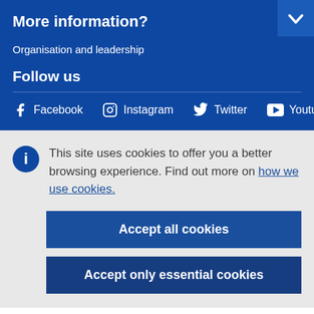More information?
Organisation and leadership
Follow us
Facebook  Instagram  Twitter  Youtube
This site uses cookies to offer you a better browsing experience. Find out more on how we use cookies.
Accept all cookies
Accept only essential cookies